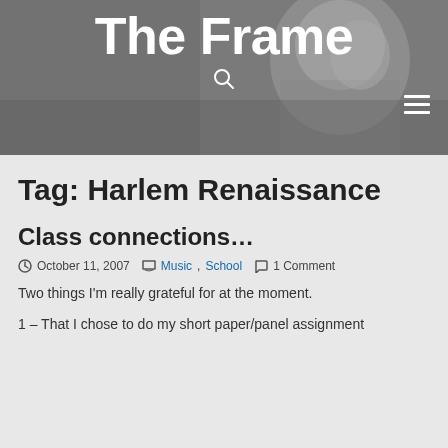[Figure (photo): Black and white photo of a person looking down, used as website header background with site title 'The Frame' overlaid in white text]
The Frame
Tag: Harlem Renaissance
Class connections…
October 11, 2007   Music, School   1 Comment
Two things I'm really grateful for at the moment.
1 – That I chose to do my short paper/panel assignment